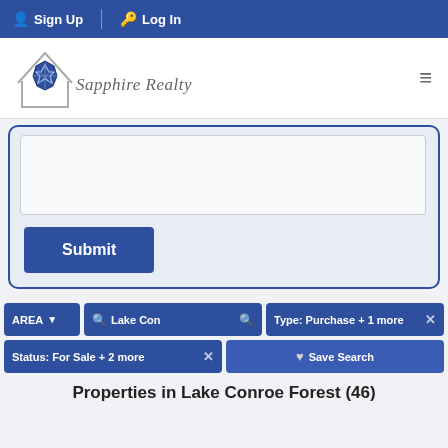Sign Up | Log In
[Figure (logo): Sapphire Realty logo with house outline and blue gemstone/star graphic, cursive text 'Sapphire Realty']
[Figure (other): Text area form field (empty) with Submit button below it, inside a rounded blue-bordered card]
Submit
AREA  Lake Con  Type: Purchase + 1 more
Status: For Sale + 2 more  Save Search
Properties in Lake Conroe Forest (46)